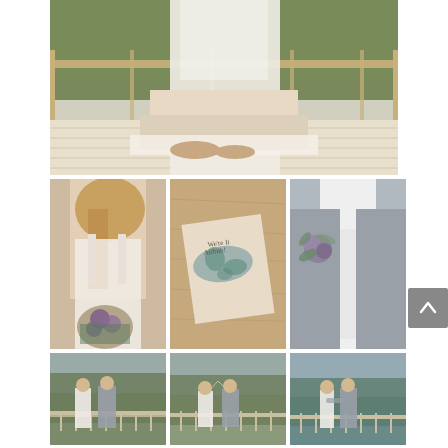[Figure (photo): Wedding dress hanging on a porch railing with lace detail, tiered skirt, and sandals on wooden floor, lush green trees in background]
[Figure (photo): Bride in lace wedding dress holding a bouquet of purple and green flowers, back view]
[Figure (photo): Close-up of a world map travel-themed wedding invitation or save the date card on a wooden surface]
[Figure (photo): Groom in grey suit vest with a purple and green boutonniere, white shirt]
[Figure (photo): Bride and groom standing together on a balcony overlooking a green scenic view]
[Figure (photo): Bride and groom giving a high five or celebrating on a balcony with scenic view]
[Figure (photo): Bride and groom embracing on a balcony overlooking a scenic landscape]